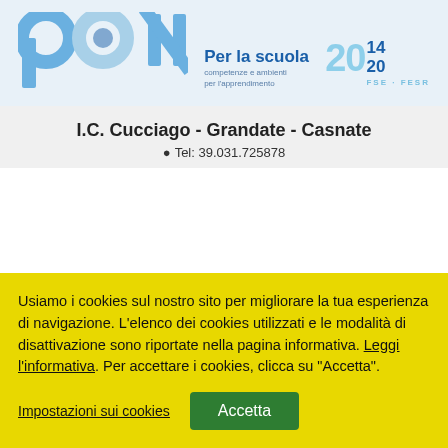[Figure (logo): PON Per la scuola - competenze e ambienti per l'apprendimento - 2014-2020 FSE FESR logo on light blue background]
I.C. Cucciago - Grandate - Casnate
Tel: 39.031.725878
Usiamo i cookies sul nostro sito per migliorare la tua esperienza di navigazione. L'elenco dei cookies utilizzati e le modalità di disattivazione sono riportate nella pagina informativa. Leggi l'informativa. Per accettare i cookies, clicca su "Accetta".
Impostazioni sui cookies
Accetta